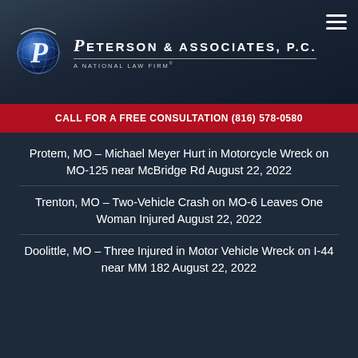[Figure (logo): Peterson & Associates P.C. law firm logo with globe graphic and stylized P, tagline 'A National Law Firm']
CALL FOR A FREE CONSULTATION (816) 578-0580
Protem, MO – Michael Meyer Hurt in Motorcycle Wreck on MO-125 near McBridge Rd August 22, 2022
Trenton, MO – Two-Vehicle Crash on MO-6 Leaves One Woman Injured August 22, 2022
Doolittle, MO – Three Injured in Motor Vehicle Wreck on I-44 near MM 182 August 22, 2022